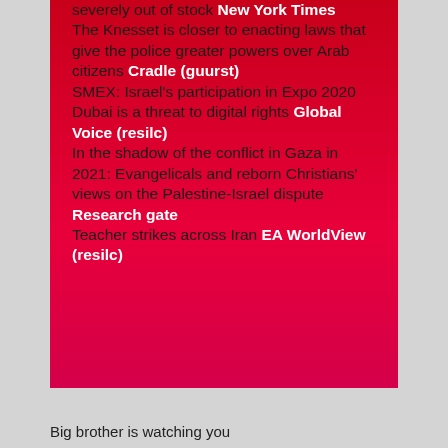severely out of stock New York Times The Knesset is closer to enacting laws that give the police greater powers over Arab citizens Cradle (guurst) SMEX: Israel's participation in Expo 2020 Dubai is a threat to digital rights Global Voice (resilc) In the shadow of the conflict in Gaza in 2021: Evangelicals and reborn Christians' views on the Palestine-Israel dispute Research gate Teacher strikes across Iran EA WorldView (resilc)
Big brother is watching you